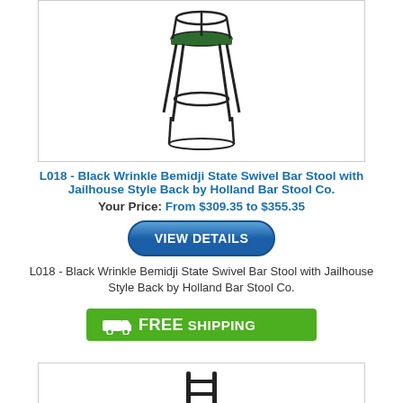[Figure (photo): Bar stool with black metal frame and green seat cushion, top portion cropped, shown in a white bordered product image box]
L018 - Black Wrinkle Bemidji State Swivel Bar Stool with Jailhouse Style Back by Holland Bar Stool Co.
Your Price: From $309.35 to $355.35
VIEW DETAILS
L018 - Black Wrinkle Bemidji State Swivel Bar Stool with Jailhouse Style Back by Holland Bar Stool Co.
[Figure (infographic): Green badge with truck icon and FREE SHIPPING text]
[Figure (photo): Bar stool with black metal ladder-back frame and green seat cushion with logo, partial image showing top portion, with green chat bubble icon in lower right]